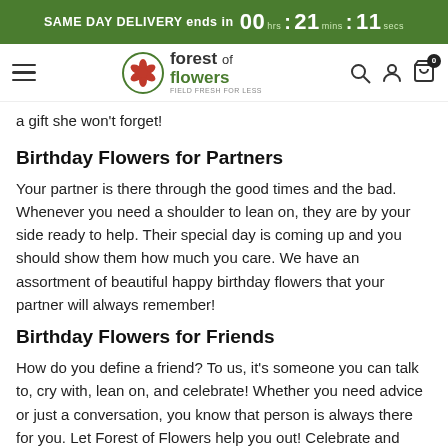SAME DAY DELIVERY ends in 00 hrs : 21 mins : 11 secs
[Figure (logo): Forest of Flowers logo with red maple leaf flower icon and navigation icons (hamburger menu, search, account, cart with 0 badge)]
a gift she won't forget!
Birthday Flowers for Partners
Your partner is there through the good times and the bad. Whenever you need a shoulder to lean on, they are by your side ready to help. Their special day is coming up and you should show them how much you care. We have an assortment of beautiful happy birthday flowers that your partner will always remember!
Birthday Flowers for Friends
How do you define a friend? To us, it's someone you can talk to, cry with, lean on, and celebrate! Whether you need advice or just a conversation, you know that person is always there for you. Let Forest of Flowers help you out! Celebrate and show them how